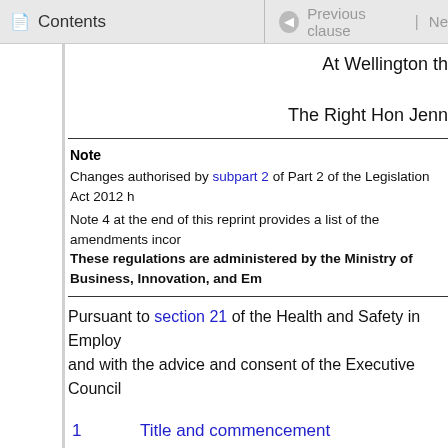Contents | Previous clause | Ne
At Wellington th
The Right Hon Jenn
Note
Changes authorised by subpart 2 of Part 2 of the Legislation Act 2012 h
Note 4 at the end of this reprint provides a list of the amendments incor
These regulations are administered by the Ministry of Business, Innovation, and Em
Pursuant to section 21 of the Health and Safety in Employ and with the advice and consent of the Executive Council
1   Title and commencement
2   Interpretation